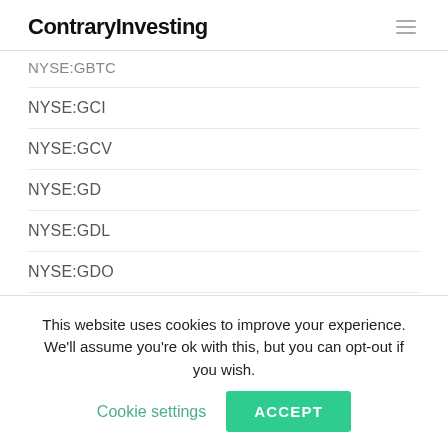ContraryInvesting
NYSE:GBTC
NYSE:GCI
NYSE:GCV
NYSE:GD
NYSE:GDL
NYSE:GDO
NYSE:GDV
NYSE:GDX
NYSE:GE
This website uses cookies to improve your experience. We'll assume you're ok with this, but you can opt-out if you wish. Cookie settings ACCEPT